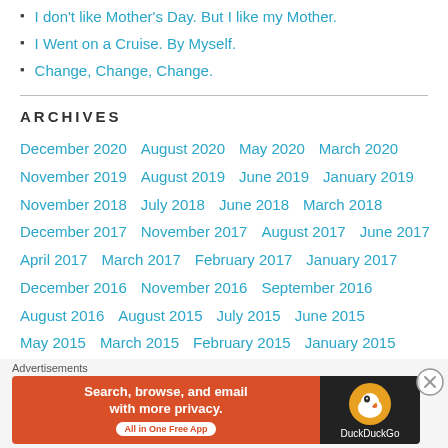I don't like Mother's Day. But I like my Mother.
I Went on a Cruise. By Myself.
Change, Change, Change.
ARCHIVES
December 2020  August 2020  May 2020  March 2020  November 2019  August 2019  June 2019  January 2019  November 2018  July 2018  June 2018  March 2018  December 2017  November 2017  August 2017  June 2017  April 2017  March 2017  February 2017  January 2017  December 2016  November 2016  September 2016  August 2016  August 2015  July 2015  June 2015  May 2015  March 2015  February 2015  January 2015  December 2014  November 2014  October 2014
Advertisements
[Figure (screenshot): DuckDuckGo advertisement banner: 'Search, browse, and email with more privacy. All in One Free App' with DuckDuckGo logo on dark background.]